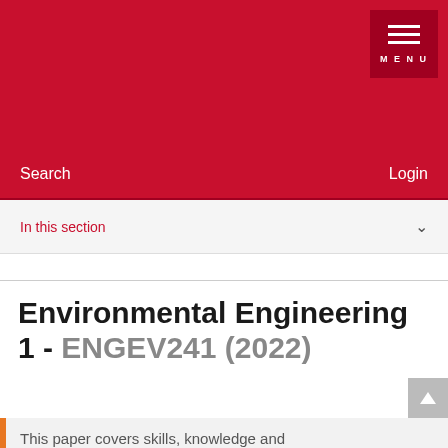MENU
Search  Login
In this section
Environmental Engineering 1 - ENGEV241 (2022)
This paper covers skills, knowledge and